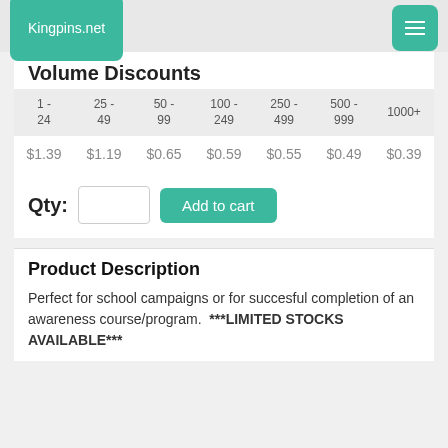Kingpins.net
Volume Discounts
| 1 - 24 | 25 - 49 | 50 - 99 | 100 - 249 | 250 - 499 | 500 - 999 | 1000+ |
| --- | --- | --- | --- | --- | --- | --- |
| $1.39 | $1.19 | $0.65 | $0.59 | $0.55 | $0.49 | $0.39 |
Qty: [input] Add to cart
Product Description
Perfect for school campaigns or for succesful completion of an awareness course/program.  ***LIMITED STOCKS AVAILABLE***